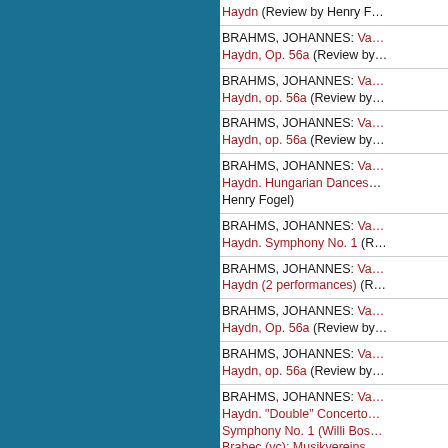Haydn (Review by Henry F...
BRAHMS, JOHANNES: Variations on a Theme by Haydn, Op. 56a (Review by...
BRAHMS, JOHANNES: Variations on a Theme by Haydn, op. 56a (Review by...
BRAHMS, JOHANNES: Variations on a Theme by Haydn, op. 56a (Review by...
BRAHMS, JOHANNES: Variations on a Theme by Haydn. Hungarian Dances ... Henry Fogel)
BRAHMS, JOHANNES: Variations on a Theme by Haydn. Symphony No. 1 (R...
BRAHMS, JOHANNES: Variations on a Theme by Haydn (2 performances) (R...
BRAHMS, JOHANNES: Variations on a Theme by Haydn, Op. 56a (Review by...
BRAHMS, JOHANNES: Variations on a Theme by Haydn, op. 56a (Review by...
BRAHMS, JOHANNES: Variations on a Theme by Haydn. "Double" Concerto ... Symphony No. 1 (Willi Bos... Brabec (vc); Musikvereins... Henry Fogel)
BRUCKNER, ANTON: Symphony... (Review by Henry Fogel)